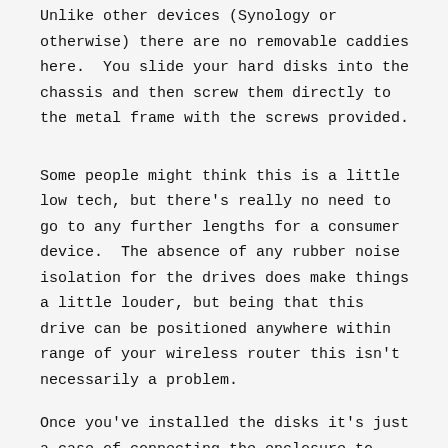Unlike other devices (Synology or otherwise) there are no removable caddies here.  You slide your hard disks into the chassis and then screw them directly to the metal frame with the screws provided.
Some people might think this is a little low tech, but there's really no need to go to any further lengths for a consumer device.  The absence of any rubber noise isolation for the drives does make things a little louder, but being that this drive can be positioned anywhere within range of your wireless router this isn't necessarily a problem.
Once you've installed the disks it's just a case of connecting the enclosure to your existing router (at least to start with) and firing it up.
Setting up